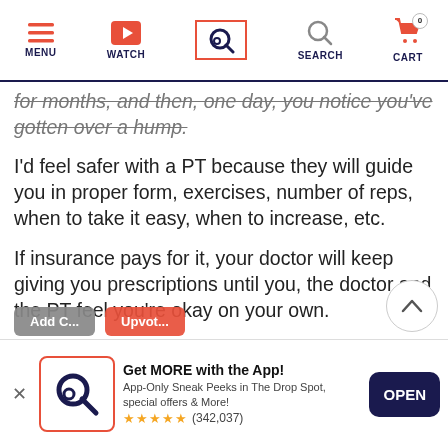[Figure (screenshot): Mobile app navigation bar with MENU, WATCH, Search (active/selected with orange border), SEARCH, and CART icons in dark navy and orange colors]
for months, and then, one day, you notice you've gotten over a hump.
I'd feel safer with a PT because they will guide you in proper form, exercises, number of reps, when to take it easy, when to increase, etc.
If insurance pays for it, your doctor will keep giving you prescriptions until you, the doctor and the PT feel you're okay on your own.
Definitely talk to your doctor for her/his advice before making a decision.
[Figure (screenshot): App download banner at bottom: app icon with Q logo in orange border, 'Get MORE with the App!' title, subtitle about App-Only Sneak Peeks, 5-star rating (342,037 reviews), and OPEN button]